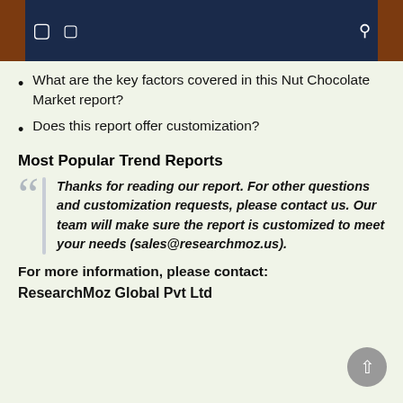What are the key factors covered in this Nut Chocolate Market report?
Does this report offer customization?
Most Popular Trend Reports
Thanks for reading our report. For other questions and customization requests, please contact us. Our team will make sure the report is customized to meet your needs (sales@researchmoz.us).
For more information, please contact:
ResearchMoz Global Pvt Ltd